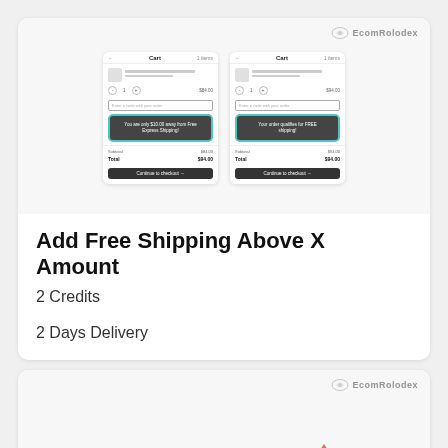[Figure (screenshot): Two side-by-side mobile app cart screenshots showing free shipping progress indicator. Left screenshot shows 'You are only $10.00 away from Free Express Shipping!' and right shows 'Your order qualifies for FREE shipping!' Both highlighted with teal rounded rectangle border. EcomRolodex logo visible top right.]
Add Free Shipping Above X Amount
2 Credits
2 Days Delivery
[Figure (screenshot): Partial view of a second card showing a teal bar and a BEST badge, with EcomRolodex logo visible.]